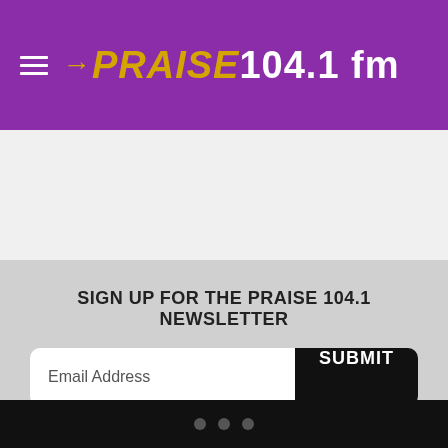[Figure (logo): Praise 104.1 FM radio station logo with hamburger menu icon on purple background]
SIGN UP FOR THE PRAISE 104.1 NEWSLETTER
Email Address
SUBMIT
Your email will be shared with praisedc.com and subject to its Privacy Policy